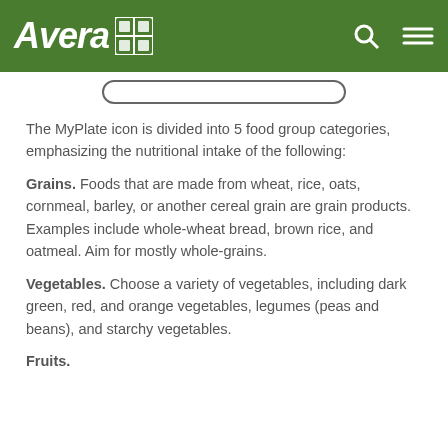Avera
The MyPlate icon is divided into 5 food group categories, emphasizing the nutritional intake of the following:
Grains. Foods that are made from wheat, rice, oats, cornmeal, barley, or another cereal grain are grain products. Examples include whole-wheat bread, brown rice, and oatmeal. Aim for mostly whole-grains.
Vegetables. Choose a variety of vegetables, including dark green, red, and orange vegetables, legumes (peas and beans), and starchy vegetables.
Fruits. (truncated)